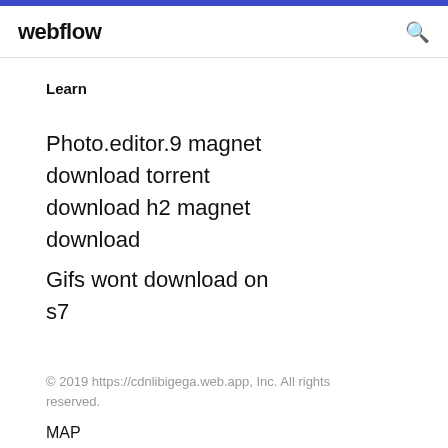webflow
Learn
Photo.editor.9 magnet download torrent download h2 magnet download
Gifs wont download on s7
© 2019 https://cdnlibigega.web.app, Inc. All rights reserved.
MAP